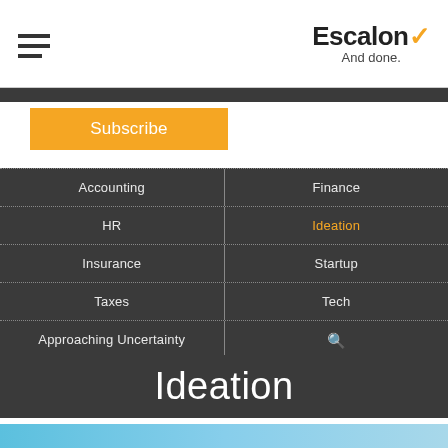Escalon ✓ And done.
Subscribe
Accounting
Finance
HR
Ideation
Insurance
Startup
Taxes
Tech
Approaching Uncertainty
Ideation